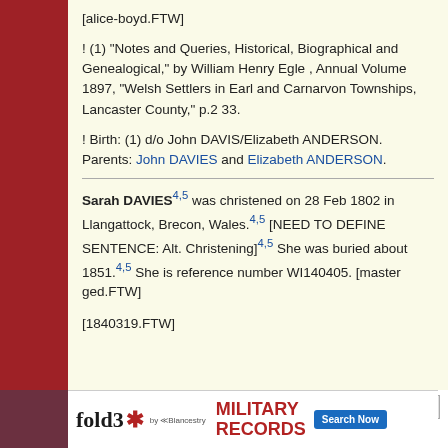[alice-boyd.FTW]
! (1) "Notes and Queries, Historical, Biographical and Genealogical," by William Henry Egle , Annual Volume 1897, "Welsh Settlers in Earl and Carnarvon Townships, Lancaster County," p.2 33.
! Birth: (1) d/o John DAVIS/Elizabeth ANDERSON. Parents: John DAVIES and Elizabeth ANDERSON.
Sarah DAVIES4,5 was christened on 28 Feb 1802 in Llangattock, Brecon, Wales.4,5 [NEED TO DEFINE SENTENCE: Alt. Christening]4,5 She was buried about 1851.4,5 She is reference number WI140405. [master ged.FTW]
[1840319.FTW]
[Figure (advertisement): Fold3 by Ancestry military records advertisement with Search Now button]